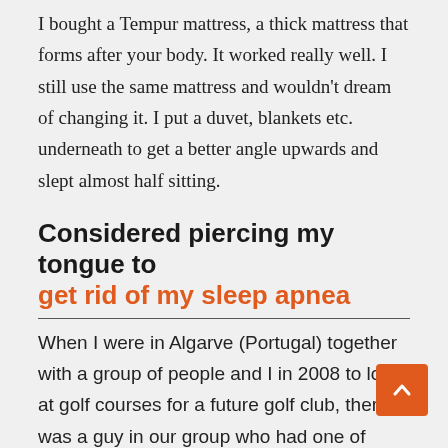I bought a Tempur mattress, a thick mattress that forms after your body. It worked really well. I still use the same mattress and wouldn't dream of changing it. I put a duvet, blankets etc. underneath to get a better angle upwards and slept almost half sitting.
Considered piercing my tongue to get rid of my sleep apnea
When I were in Algarve (Portugal) together with a group of people and I in 2008 to look at golf courses for a future golf club, there was a guy in our group who had one of those breathing masks (CPAP mask) and I thought "never in hell," because the people at the Sofia Clinic had said I should probably get one.